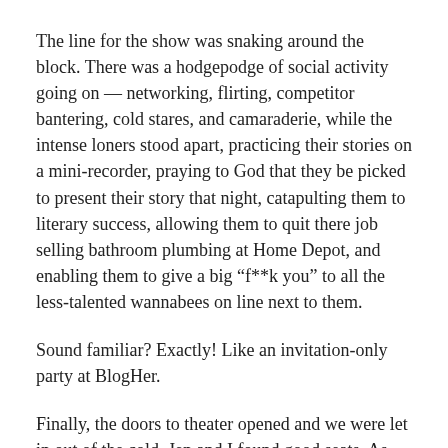The line for the show was snaking around the block. There was a hodgepodge of social activity going on — networking, flirting, competitor bantering, cold stares, and camaraderie, while the intense loners stood apart, practicing their stories on a mini-recorder, praying to God that they be picked to present their story that night, catapulting them to literary success, allowing them to quit there job selling bathroom plumbing at Home Depot, and enabling them to give a big “f**k you” to all the less-talented wannabees on line next to them.
Sound familiar? Exactly! Like an invitation-only party at BlogHer.
Finally, the doors to theater opened and we were let in out of the cold. Jen and I found good seats. As the show began, I could feel a nervous tension in the air. The MC, a storyteller himself, pulled a name out of the hat and that